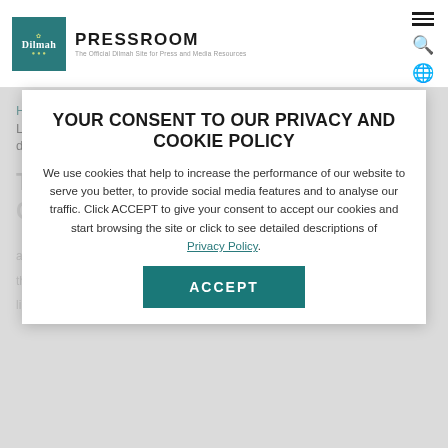[Figure (logo): Dilmah Pressroom logo with teal square logo and PRESSROOM text]
PRESSROOM - The Official Dilmah Site for Press and Media Resources
Home / Press releases / The Dilmah drive: How Sri Lanka's king of Ceylon tea is keeping up with Gen Z tea drinkers
YOUR CONSENT TO OUR PRIVACY AND COOKIE POLICY
We use cookies that help to increase the performance of our website to serve you better, to provide social media features and to analyse our traffic. Click ACCEPT to give your consent to accept our cookies and start browsing the site or click to see detailed descriptions of Privacy Policy.
ACCEPT